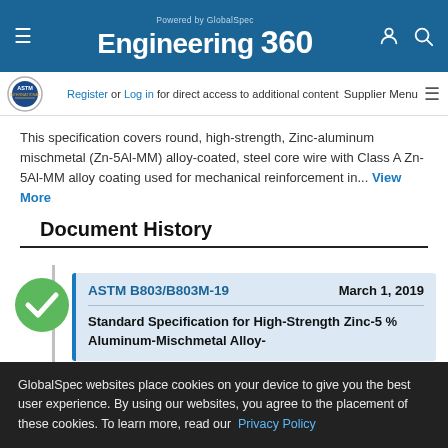Powered by GlobalSpec Engineering 360
Register or Log in for direct access to additional content
This specification covers round, high-strength, Zinc-aluminum mischmetal (Zn-5Al-MM) alloy-coated, steel core wire with Class A Zn-5Al-MM alloy coating used for mechanical reinforcement in... View More
Document History
ASTM B803/B803M-19    March 1, 2019
Standard Specification for High-Strength Zinc-5% Aluminum-Mischmetal Alloy-
GlobalSpec websites place cookies on your device to give you the best user experience. By using our websites, you agree to the placement of these cookies. To learn more, read our Privacy Policy